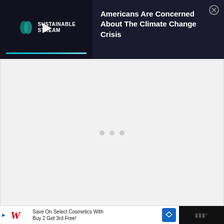[Figure (screenshot): Top dark navy banner ad showing Sustainable Stream video thumbnail on left with play button and progress bar, and text 'Americans Are Concerned About The Climate Change Crisis' on right with close button]
[Figure (screenshot): Light gray content area with three loading dots in the center, indicating page content is loading]
[Figure (screenshot): Bottom black bar containing a Walgreens advertisement: 'Save On Select Cosmetics With Buy 2 Get 3rd Free!' with Walgreens logo and navigation arrow icon, plus a dark logo area on the right]